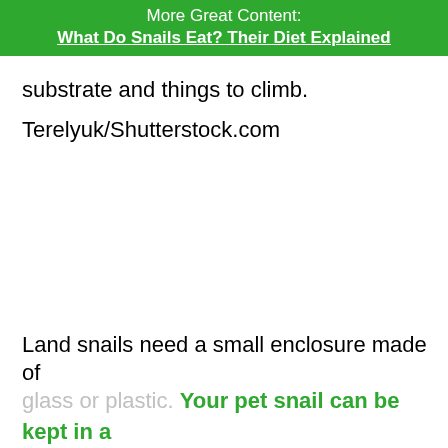More Great Content:
What Do Snails Eat? Their Diet Explained
substrate and things to climb.
Terelyuk/Shutterstock.com
Land snails need a small enclosure made of
glass or plastic. Your pet snail can be kept in a